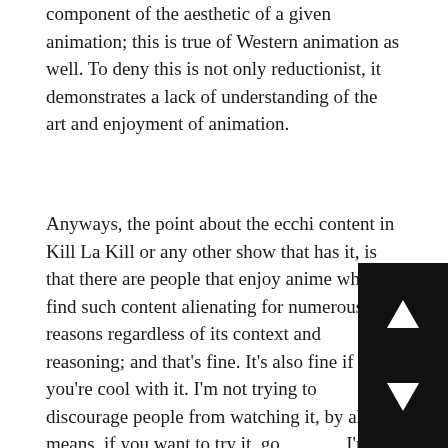component of the aesthetic of a given animation; this is true of Western animation as well. To deny this is not only reductionist, it demonstrates a lack of understanding of the art and enjoyment of animation.
Anyways, the point about the ecchi content in Kill La Kill or any other show that has it, is that there are people that enjoy anime who find such content alienating for numerous reasons regardless of its context and reasoning; and that's fine. It's also fine if you're cool with it. I'm not trying to discourage people from watching it, by all means, if you want to try it, go ahead, I'm just letting you know it's there.